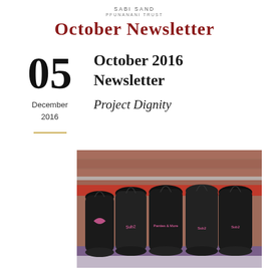SABI SAND
PFUNANANI TRUST
October Newsletter
05
December
2016
October 2016 Newsletter
Project Dignity
[Figure (photo): Multiple black drawstring bags with pink logo text ('Sub2' brand), arranged on a table against a brick wall background]